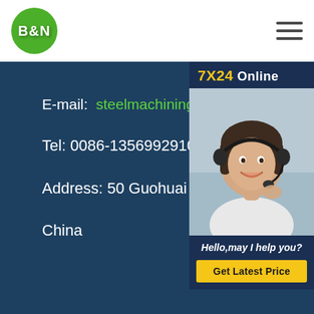[Figure (logo): B&N company logo — green circle with white bold B&N text]
E-mail: steelmachining@yeah.n...
Tel: 0086-13569929107
Address: 50 Guohuai Road, Henan...
China
[Figure (photo): 7X24 Online widget showing a customer service representative with headset, text 'Hello,may I help you?' and a 'Get Latest Price' yellow button]